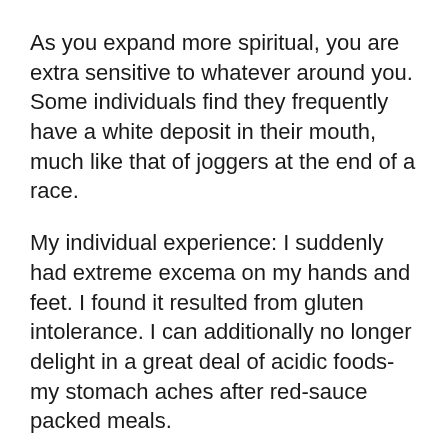As you expand more spiritual, you are extra sensitive to whatever around you. Some individuals find they frequently have a white deposit in their mouth, much like that of joggers at the end of a race.
My individual experience: I suddenly had extreme excema on my hands and feet. I found it resulted from gluten intolerance. I can additionally no longer delight in a great deal of acidic foods- my stomach aches after red-sauce packed meals.
Suggestions on how to deal:
Take on your own to a naturopath. Look at your diet regimen for well-known irritants,